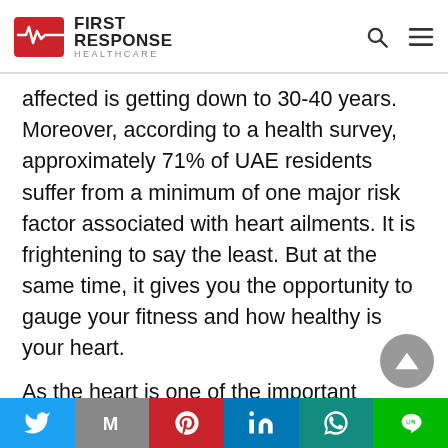First Response Healthcare
affected is getting down to 30-40 years. Moreover, according to a health survey, approximately 71% of UAE residents suffer from a minimum of one major risk factor associated with heart ailments. It is frightening to say the least. But at the same time, it gives you the opportunity to gauge your fitness and how healthy is your heart.
As the heart is one of the important organs of the human body, it is essential to take care of it. Adopting and embracing healthy lifestyle strategies, eating habits and engaging in physical